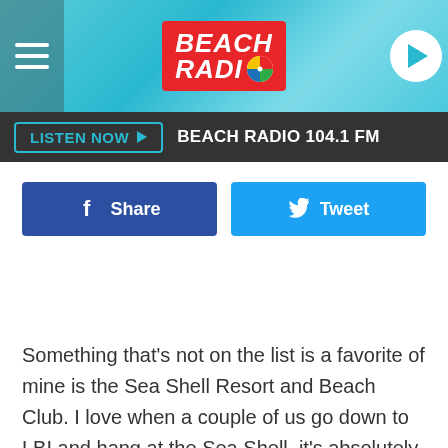[Figure (logo): Beach Radio logo with red background and beach ball, hamburger menu on left, play button on right, on aqua/teal water background header]
LISTEN NOW ► BEACH RADIO 104.1 FM
[Figure (infographic): Facebook Share button and Twitter Tweet button side by side]
Something that's not on the list is a favorite of mine is the Sea Shell Resort and Beach Club. I love when a couple of us go down to LBI and hang at the Sea Shell, it's absolutely gorgeous, right on the beach. If you've never been, try it. It's